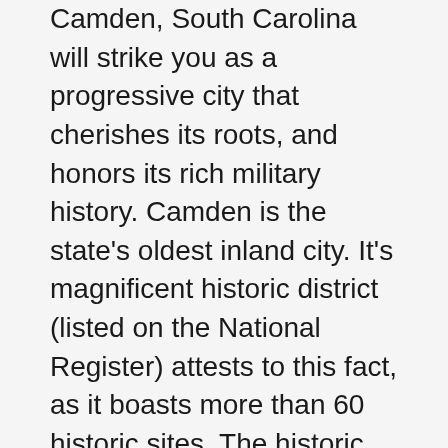Camden, South Carolina will strike you as a progressive city that cherishes its roots, and honors its rich military history. Camden is the state's oldest inland city. It's magnificent historic district (listed on the National Register) attests to this fact, as it boasts more than 60 historic sites. The historic district offers the opportunity for strolling through the Antique District, sipping on gourmet coffee, and dining fine or casual- all while taking in the local flavor. Looking for a place to lay your head won't be difficult. You'll find a range of options in Camden... from magnificent plantations turned bed and breakfasts, to national chains.
Much of the city is devoted to two loves; horses and the arts. In fact, Camden's Carolina Cup and Colonial Cup are perhaps the finest equestrian events held in the southeast, and attract even those who aren't